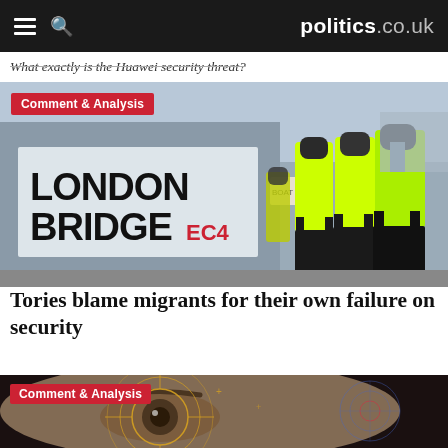politics.co.uk
What exactly is the Huawei security threat?
[Figure (photo): London Bridge sign with police officers in high-visibility jackets standing on bridge, tagged 'Comment & Analysis']
Tories blame migrants for their own failure on security
[Figure (photo): Close-up of person's eye with digital surveillance/radar graphics overlay, tagged 'Comment & Analysis']